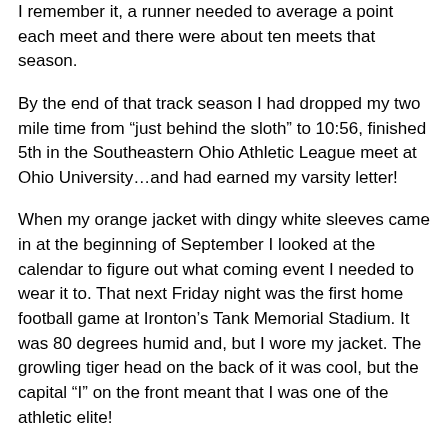I remember it, a runner needed to average a point each meet and there were about ten meets that season.
By the end of that track season I had dropped my two mile time from "just behind the sloth" to 10:56, finished 5th in the Southeastern Ohio Athletic League meet at Ohio University…and had earned my varsity letter!
When my orange jacket with dingy white sleeves came in at the beginning of September I looked at the calendar to figure out what coming event I needed to wear it to. That next Friday night was the first home football game at Ironton's Tank Memorial Stadium. It was 80 degrees humid and, but I wore my jacket. The growling tiger head on the back of it was cool, but the capital "I" on the front meant that I was one of the athletic elite!
Perspiration flowed down my face that night, but I sensed